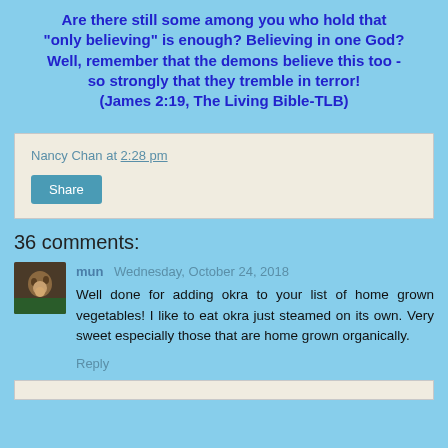Are there still some among you who hold that "only believing" is enough? Believing in one God? Well, remember that the demons believe this too - so strongly that they tremble in terror! (James 2:19, The Living Bible-TLB)
Nancy Chan at 2:28 pm
Share
36 comments:
[Figure (photo): Small avatar photo of commenter mun, appears to be a person with dark background]
mun Wednesday, October 24, 2018
Well done for adding okra to your list of home grown vegetables! I like to eat okra just steamed on its own. Very sweet especially those that are home grown organically.
Reply